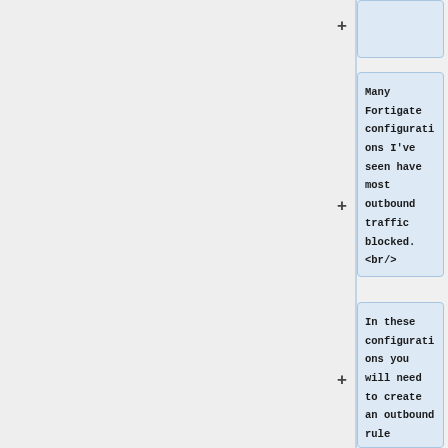+
Many Fortigate configurations I've seen have most outbound traffic blocked.
<br/>
In these configurations you will need to create an outbound rule allowing the PBX to talk to our SIP